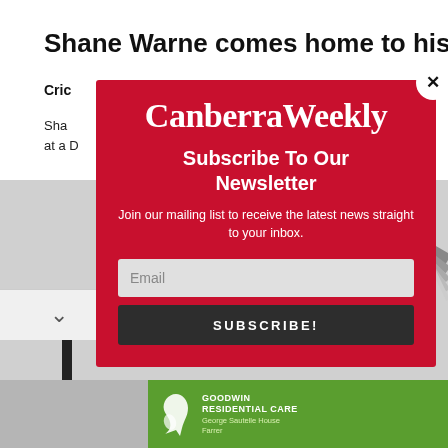Shane Warne comes home to his family
Cric
Shane ... nded at a D
[Figure (screenshot): Background photo of a cricket stadium with floodlights and stadium roof structure]
[Figure (infographic): Canberra Weekly newsletter subscription modal overlay on red background with close button, title 'Canberra Weekly', 'Subscribe To Our Newsletter', description text, email input field and SUBSCRIBE! button]
[Figure (infographic): Goodwin Residential Care advertisement banner at bottom with green background, swan logo, and photo of elderly people]